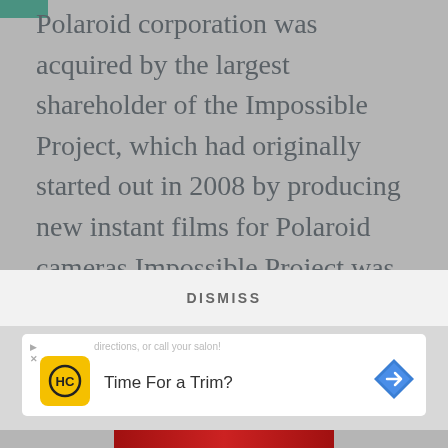Polaroid corporation was acquired by the largest shareholder of the Impossible Project, which had originally started out in 2008 by producing new instant films for Polaroid cameras Impossible Project was renamed Polaroid Originals in September 2017.
3 TOYS R US (1948 — 2017)
[Figure (screenshot): Mobile ad overlay with DISMISS button and a 'Time For a Trim?' advertisement with HC logo and navigation arrow icon]